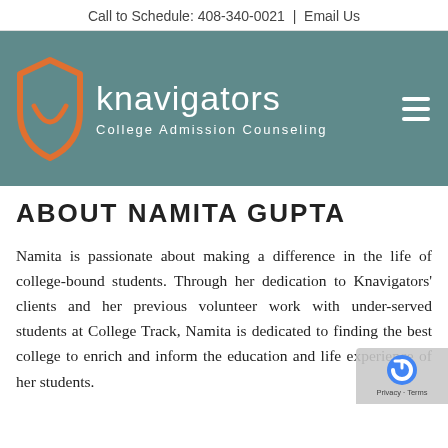Call to Schedule: 408-340-0021  |  Email Us
[Figure (logo): Knavigators College Admission Counseling logo on teal/slate background with orange shield icon and hamburger menu icon]
ABOUT NAMITA GUPTA
Namita is passionate about making a difference in the life of college-bound students. Through her dedication to Knavigators' clients and her previous volunteer work with under-served students at College Track, Namita is dedicated to finding the best college to enrich and inform the education and life experience of her students.